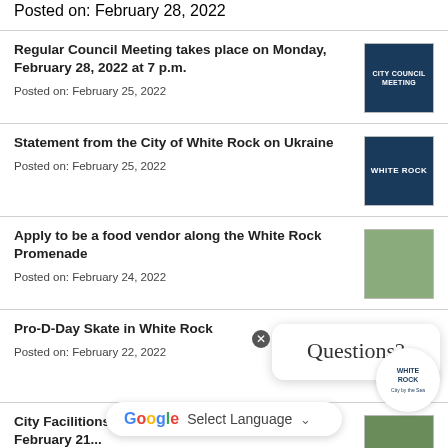Posted on: February 28, 2022
Regular Council Meeting takes place on Monday, February 28, 2022 at 7 p.m.
Posted on: February 25, 2022
Statement from the City of White Rock on Ukraine
Posted on: February 25, 2022
Apply to be a food vendor along the White Rock Promenade
Posted on: February 24, 2022
Pro-D-Day Skate in White Rock
Posted on: February 22, 2022
City Facilities closed on Family Day February 21...
Posted on: February 17, 2022